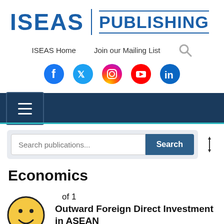[Figure (logo): ISEAS Publishing logo with blue block letters and horizontal lines]
ISEAS Home   Join our Mailing List   [search icon]
[Figure (infographic): Social media icons: Facebook, Twitter, Instagram, YouTube, LinkedIn]
[Figure (screenshot): Navy navigation bar with hamburger menu button and teal bottom border]
[Figure (screenshot): Search publications input box with Search button and sort icon]
Economics
Page 1 of 1
Outward Foreign Direct Investment in ASEAN